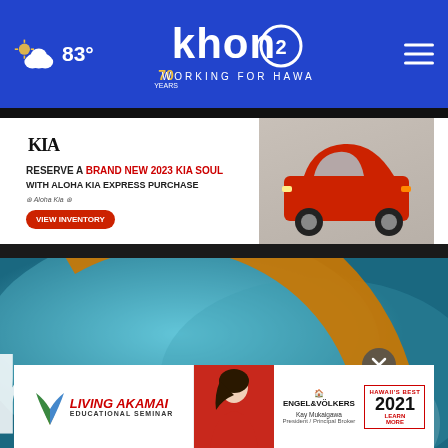KHON2 - Working for Hawaii | 83°
[Figure (screenshot): Kia advertisement banner: Reserve a Brand New 2023 Kia Soul with Aloha Kia Express Purchase - View Inventory]
[Figure (photo): KHON2 news station logo background image in teal/blue tones with orange accent arc]
[Figure (screenshot): Living Akamai Educational Seminar ad featuring Engel & Völkers, Kay Mukaigawa President/Principal Broker, Hawaii's Best 2021]